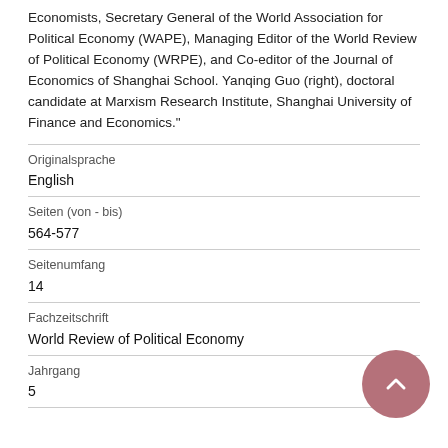Economists, Secretary General of the World Association for Political Economy (WAPE), Managing Editor of the World Review of Political Economy (WRPE), and Co-editor of the Journal of Economics of Shanghai School. Yanqing Guo (right), doctoral candidate at Marxism Research Institute, Shanghai University of Finance and Economics."
| Originalsprache | English |
| Seiten (von - bis) | 564-577 |
| Seitenumfang | 14 |
| Fachzeitschrift | World Review of Political Economy |
| Jahrgang | 5 |